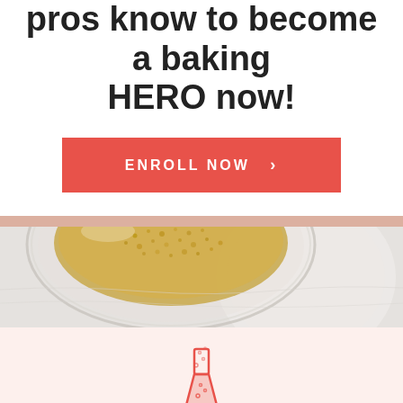pros know to become a baking HERO now!
ENROLL NOW ›
[Figure (photo): Top-down view of a glass bowl filled with golden granular ingredient (sugar or breadcrumbs) on a light grey/white surface]
[Figure (illustration): Pink/red outline illustration of a chemistry flask/beaker with bubbles]
The Magic of Baking is the only convenient online baking class designed